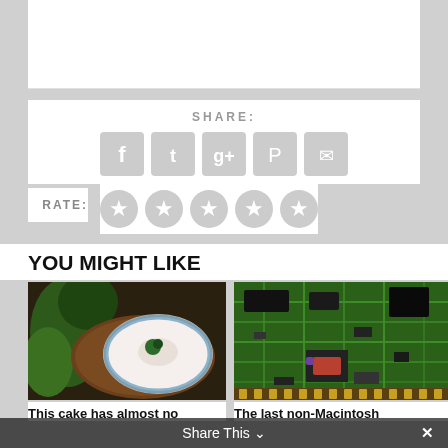SHARE:
[Figure (infographic): Social share icons: Facebook, Twitter, Google+, Pinterest, Email]
RATE:
[Figure (infographic): Five grey star rating icons]
YOU MIGHT LIKE
[Figure (photo): Food photo: blue and white plate with food on wooden board surrounded by herbs]
[Figure (photo): Green circuit board close-up photo]
This cake has almost no
The last non-Macintosh
Share This ∨ ×